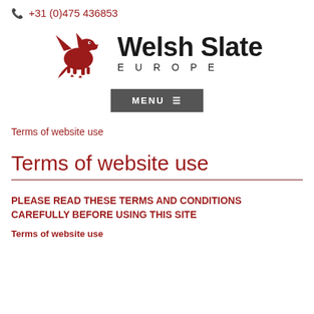+31 (0)475 436853
[Figure (logo): Welsh Slate Europe logo with red Welsh dragon and brand name]
MENU
Terms of website use
Terms of website use
PLEASE READ THESE TERMS AND CONDITIONS CAREFULLY BEFORE USING THIS SITE
Terms of website use